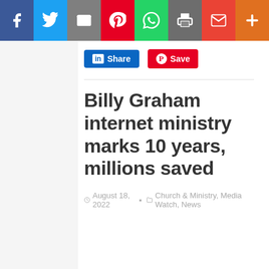[Figure (screenshot): Social media sharing toolbar with icons for Facebook, Twitter, Email, Pinterest, WhatsApp, Print, Gmail, and a plus button]
Share  Save
Billy Graham internet ministry marks 10 years, millions saved
August 18, 2022  Church & Ministry, Media Watch, News